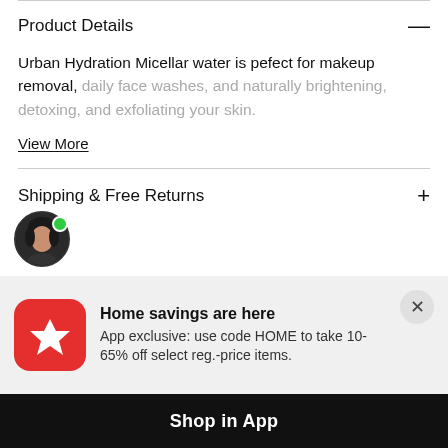Product Details —
Urban Hydration Micellar water is pefect for makeup removal, daily face washes, and naturally brightening, detoxing, and exfoliating your skin.
View More
Shipping & Free Returns +
[Figure (photo): Circular avatar photo of a person with dark hair, with a green online status dot]
Home savings are here
App exclusive: use code HOME to take 10-65% off select reg.-price items.
Shop in App